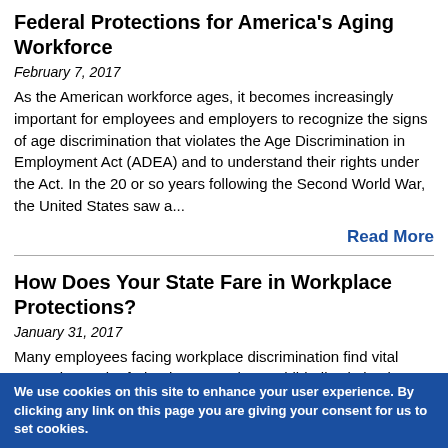Federal Protections for America's Aging Workforce
February 7, 2017
As the American workforce ages, it becomes increasingly important for employees and employers to recognize the signs of age discrimination that violates the Age Discrimination in Employment Act (ADEA) and to understand their rights under the Act. In the 20 or so years following the Second World War, the United States saw a...
Read More
How Does Your State Fare in Workplace Protections?
January 31, 2017
Many employees facing workplace discrimination find vital protection under federal statutes that prohibit discrimination on the grounds of race, national origin, religion, age...
We use cookies on this site to enhance your user experience. By clicking any link on this page you are giving your consent for us to set cookies.